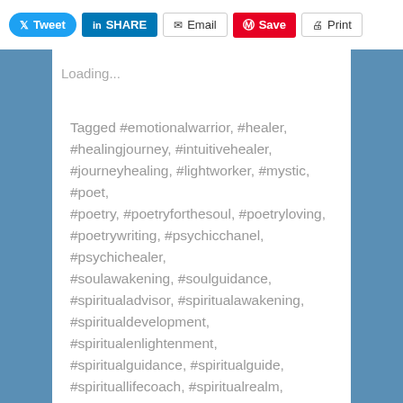[Figure (screenshot): Social sharing toolbar with Tweet, Share, Email, Save, and Print buttons]
Loading...
Tagged #emotionalwarrior, #healer, #healingjourney, #intuitivehealer, #journeyhealing, #lightworker, #mystic, #poet, #poetry, #poetryforthesoul, #poetryloving, #poetrywriting, #psychicchanel, #psychichealer, #soulawakening, #soulguidance, #spiritualadvisor, #spiritualawakening, #spiritualdevelopment, #spiritualenlightenment, #spiritualguidance, #spiritualguide, #spirituallifecoach, #spiritualrealm, #spiritualwarrior, #spiritualwellness,